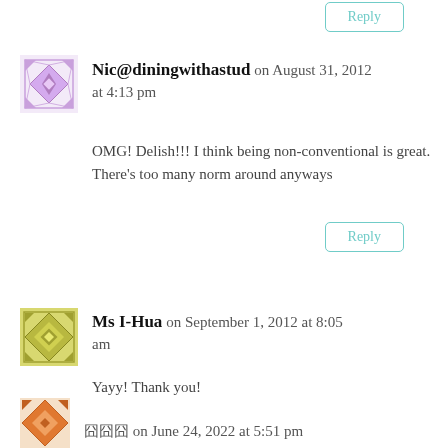[Figure (illustration): Purple geometric avatar icon for Nic@diningwithastud]
Nic@diningwithastud on August 31, 2012 at 4:13 pm
OMG! Delish!!! I think being non-conventional is great. There's too many norm around anyways
Reply
[Figure (illustration): Olive/yellow-green geometric avatar icon for Ms I-Hua]
Ms I-Hua on September 1, 2012 at 8:05 am
Yayy! Thank you!
Reply
[Figure (illustration): Orange geometric avatar icon]
囧囧囧 on June 24, 2022 at 5:51 pm